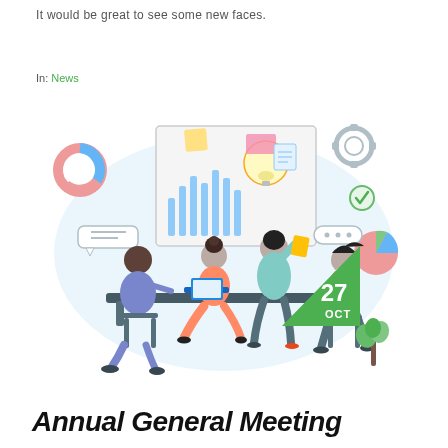It would be great to see some new faces.
In: News
[Figure (illustration): Flat vector illustration of a business meeting: four people around a table with laptops, a standing presenter pointing at a whiteboard with charts, lightbulb, and various data icons (donut chart, pie chart, speech bubbles, gear, checkmark). Background is a soft blue blob shape. A green calendar badge in the lower right shows 27 OCT.]
Annual General Meeting